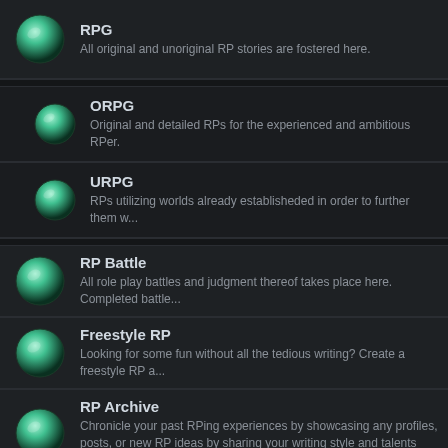RPG — All original and unoriginal RP stories are fostered here.
ORPG — Original and detailed RPs for the experienced and ambitious RPer.
URPG — RPs utilizing worlds already establisheded in order to further them w...
RP Battle — All role play battles and judgment thereof takes place here. Completed battle...
Freestyle RP — Looking for some fun without all the tedious writing? Create a freestyle RP a...
RP Archive — Chronicle your past RPing experiences by showcasing any profiles, posts, or new RP ideas by sharing your writing style and talents with fellow RPers.
Threads in Forum : RP Forum
Thread / Thread Starter